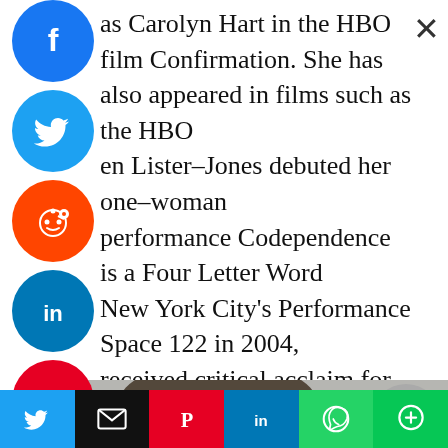as Carolyn Hart in the HBO film Confirmation. She has also appeared in films such as the HBO en Lister-Jones debuted her one-woman performance Codependence is a Four Letter Word New York City's Performance Space 122 in 2004, received critical acclaim for her work (P.S.122). Arranged, a 2007 independent film in which she ared, was her first cinematic role.
[Figure (photo): Partial view of a person with dark hair, cropped screenshot from article]